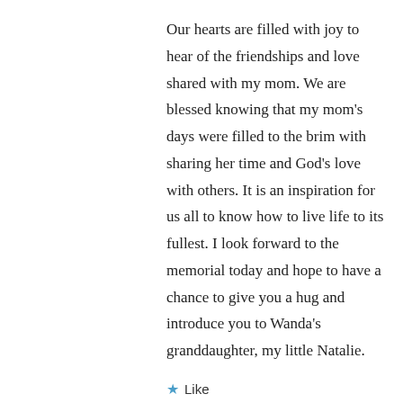Our hearts are filled with joy to hear of the friendships and love shared with my mom. We are blessed knowing that my mom's days were filled to the brim with sharing her time and God's love with others. It is an inspiration for us all to know how to live life to its fullest. I look forward to the memorial today and hope to have a chance to give you a hug and introduce you to Wanda's granddaughter, my little Natalie.
★ Like
↳ Reply
ardisanelson on May 28, 2014 at 12:37 pm
Ryan, thank you for your kind words. Your